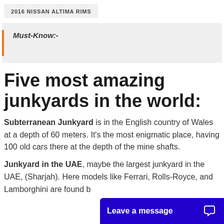2016 NISSAN ALTIMA RIMS
Must-Know:-
Five most amazing junkyards in the world:
Subterranean Junkyard is in the English country of Wales at a depth of 60 meters. It's the most enigmatic place, having 100 old cars there at the depth of the mine shafts.
Junkyard in the UAE, maybe the largest junkyard in the UAE, (Sharjah). Here models like Ferrari, Rolls-Royce, and Lamborghini are found b…
Leave a message